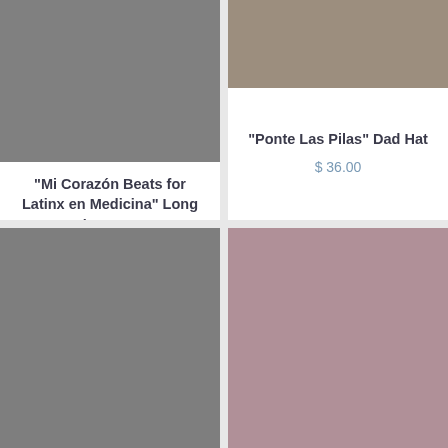[Figure (photo): Product image placeholder - grey rectangle for long sleeve tee]
"Mi Corazón Beats for Latinx en Medicina" Long Sleeve Tee
From $ 42.00
[Figure (photo): Product image placeholder - taupe/brownish grey rectangle for dad hat]
"Ponte Las Pilas" Dad Hat
$ 36.00
[Figure (photo): Product image placeholder - grey rectangle, bottom-left product]
[Figure (photo): Product image placeholder - mauve/pink-grey rectangle, bottom-right product]